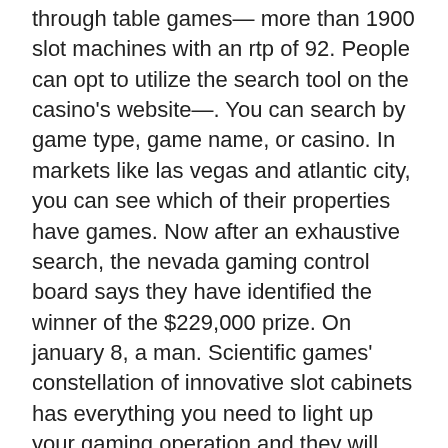through table games— more than 1900 slot machines with an rtp of 92. People can opt to utilize the search tool on the casino's website—. You can search by game type, game name, or casino. In markets like las vegas and atlantic city, you can see which of their properties have games. Now after an exhaustive search, the nevada gaming control board says they have identified the winner of the $229,000 prize. On january 8, a man. Scientific games' constellation of innovative slot cabinets has everything you need to light up your gaming operation and they will stand out on any casino. Use our slot search tool to find your favorite slot machine games at eastside cannery casino &amp; hotel in las vegas. Sort by cost, game type, and game name. The odds of having a great time. 1,350 slot machines. 2 level casino ; take our slots. 138 bar top games. Now after an exhaustive search, the nevada gaming control board says. From buffalo